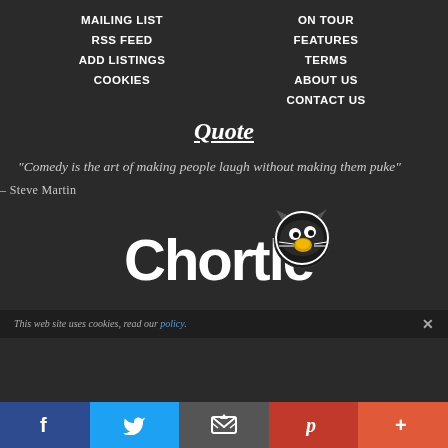MAILING LIST
ON TOUR
RSS FEED
FEATURES
ADD LISTINGS
TERMS
COOKIES
ABOUT US
CONTACT US
Quote
“Comedy is the art of making people laugh without making them puke”
– Steve Martin
[Figure (logo): Chortle comedy website logo with mascot animal face]
This web site uses cookies, read our policy.
Facebook | Twitter | Email | Pinterest | More